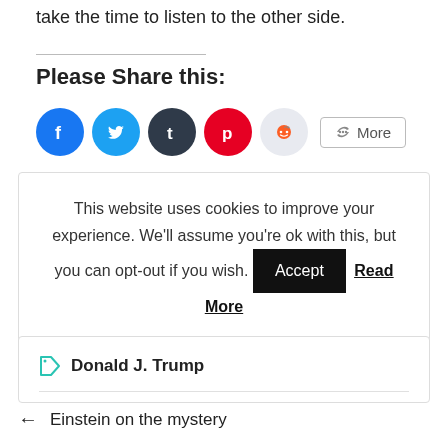take the time to listen to the other side.
Please Share this:
[Figure (infographic): Social sharing buttons: Facebook (blue), Twitter (light blue), Tumblr (dark), Pinterest (red), Reddit (light grey), and a More button]
This website uses cookies to improve your experience. We'll assume you're ok with this, but you can opt-out if you wish. Accept Read More
Donald J. Trump
← Einstein on the mystery